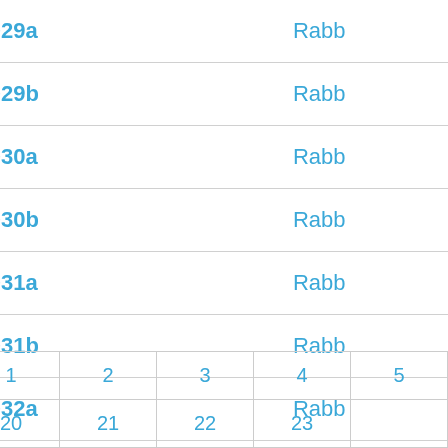| Title | Author |
| --- | --- |
| Sanhedrin 029a | Rabb |
| Sanhedrin 029b | Rabb |
| Sanhedrin 030a | Rabb |
| Sanhedrin 030b | Rabb |
| Sanhedrin 031a | Rabb |
| Sanhedrin 031b | Rabb |
| Sanhedrin 032a | Rabb |
| Sanhedrin 032b | Rabb |
| Sanhedrin 033a | Rabb |
| Sanhedrin 033b | Rabb |
| Prev | 1 | 2 | 3 | 4 | 5 |
| 19 | 20 | 21 | 22 | 23 |  |